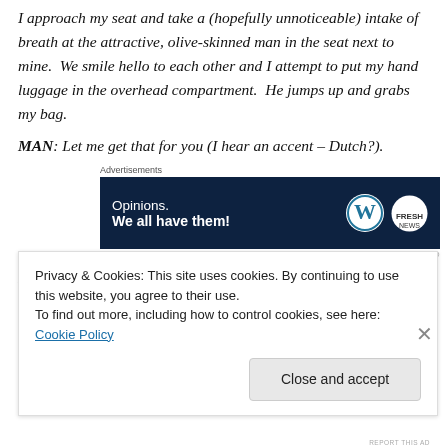I approach my seat and take a (hopefully unnoticeable) intake of breath at the attractive, olive-skinned man in the seat next to mine.  We smile hello to each other and I attempt to put my hand luggage in the overhead compartment.  He jumps up and grabs my bag.
MAN: Let me get that for you (I hear an accent – Dutch?).
[Figure (other): Advertisement banner with dark navy background showing 'Opinions. We all have them!' text with WordPress and Fresh News logos]
I thank him, and we seat and buckle ourselves
Privacy & Cookies: This site uses cookies. By continuing to use this website, you agree to their use. To find out more, including how to control cookies, see here: Cookie Policy